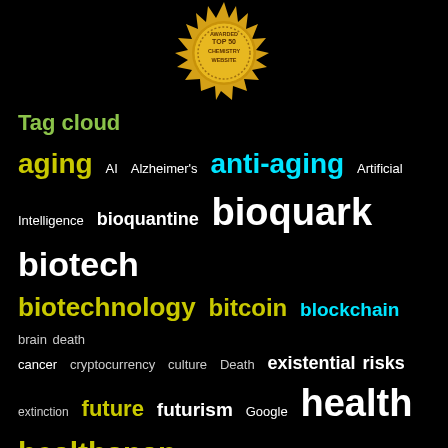[Figure (logo): Gold badge/seal with text: AWARDED TOP 50 CHEMISTRY WEBSITE]
Tag cloud
[Figure (infographic): Tag cloud with terms related to aging, biotech, longevity, and futurism displayed in various colors and font sizes on a black background. Terms include: aging, AI, Alzheimer's, anti-aging, Artificial Intelligence, bioquantine, bioquark, biotech, biotechnology, bitcoin, blockchain, brain death, cancer, cryptocurrency, culture, Death, existential risks, extinction, future, futurism, Google, health, healthspan, humanity, ideaxme, immortality, Interstellar Travel, ira pastor, Life extension, lifespan, longevity, NASA, Neuroscience, politics, reanima, regenerage, regeneration, research, risks, singularity, space, sustainability, technology, transhumanism, wellness]